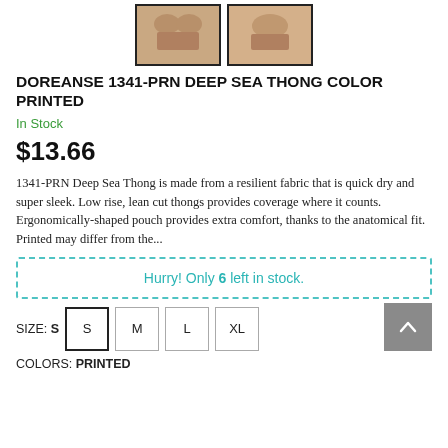[Figure (photo): Two product thumbnail images of the Doreanse 1341-PRN Deep Sea Thong showing front and back views]
DOREANSE 1341-PRN DEEP SEA THONG COLOR PRINTED
In Stock
$13.66
1341-PRN Deep Sea Thong is made from a resilient fabric that is quick dry and super sleek. Low rise, lean cut thongs provides coverage where it counts. Ergonomically-shaped pouch provides extra comfort, thanks to the anatomical fit. Printed may differ from the...
Hurry! Only 6 left in stock.
SIZE: S
COLORS: PRINTED